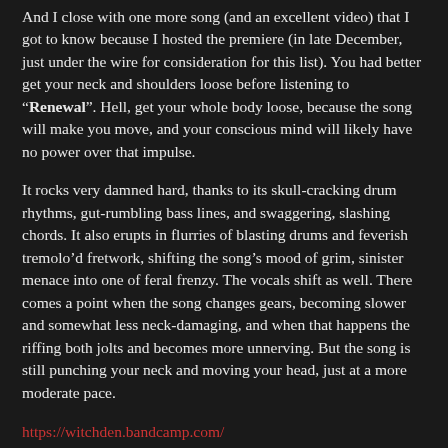And I close with one more song (and an excellent video) that I got to know because I hosted the premiere (in late December, just under the wire for consideration for this list). You had better get your neck and shoulders loose before listening to “Renewal”. Hell, get your whole body loose, because the song will make you move, and your conscious mind will likely have no power over that impulse.
It rocks very damned hard, thanks to its skull-cracking drum rhythms, gut-rumbling bass lines, and swaggering, slashing chords. It also erupts in flurries of blasting drums and feverish tremolo’d fretwork, shifting the song’s mood of grim, sinister menace into one of feral frenzy. The vocals shift as well. There comes a point when the song changes gears, becoming slower and somewhat less neck-damaging, and when that happens the riffing both jolts and becomes more unnerving. But the song is still punching your neck and moving your head, just at a more moderate pace.
https://witchden.bandcamp.com/
https://www.facebook.com/witchbangers/